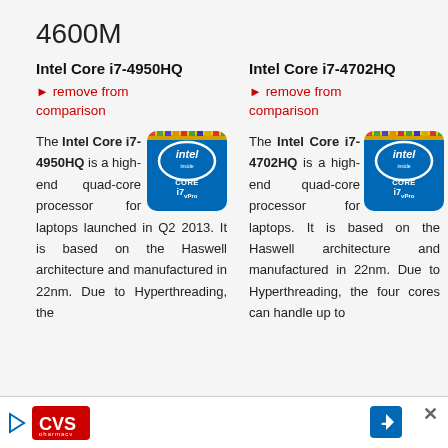4600M
Intel Core i7-4950HQ
▶ remove from comparison
[Figure (logo): Intel Core i7 vPro inside badge]
The Intel Core i7-4950HQ is a high-end quad-core processor for laptops launched in Q2 2013. It is based on the Haswell architecture and manufactured in 22nm. Due to Hyperthreading, the
Intel Core i7-4702HQ
▶ remove from comparison
[Figure (logo): Intel Core i7 vPro inside badge]
The Intel Core i7-4702HQ is a high-end quad-core processor for laptops. It is based on the Haswell architecture and manufactured in 22nm. Due to Hyperthreading, the four cores can handle up to